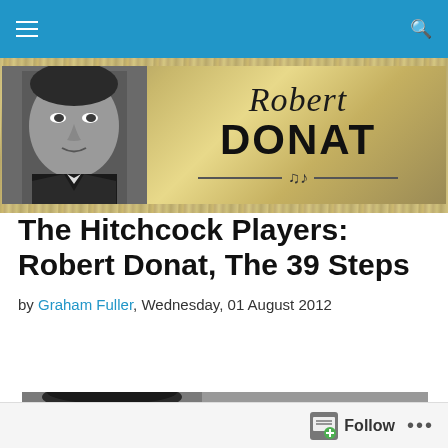Navigation bar with menu and search icons
[Figure (illustration): Robert Donat website banner with gold metallic background, photo of Robert Donat on left, and stylized 'Robert DONAT' text logo]
The Hitchcock Players: Robert Donat, The 39 Steps
by Graham Fuller, Wednesday, 01 August 2012
[Figure (photo): Black and white photo of Robert Donat, partially visible, cropped at bottom of page]
Follow ...